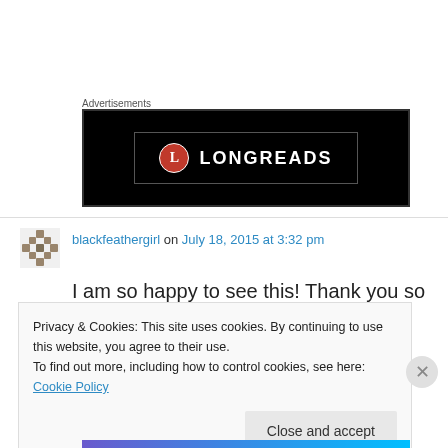Advertisements
[Figure (logo): Longreads advertisement banner: black background with red circle L logo and LONGREADS text in white]
blackfeathergirl on July 18, 2015 at 3:32 pm
I am so happy to see this! Thank you so much,
Privacy & Cookies: This site uses cookies. By continuing to use this website, you agree to their use.
To find out more, including how to control cookies, see here: Cookie Policy
Close and accept